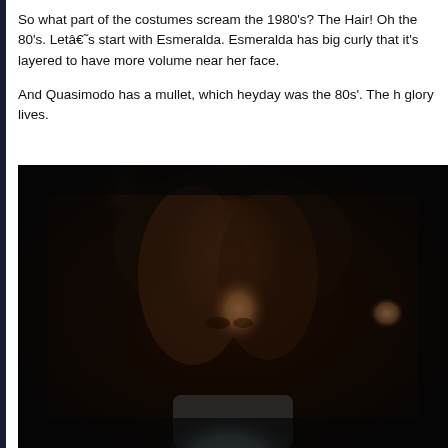So what part of the costumes scream the 1980's? The Hair! Oh the 80's. Letâ€˜s start with Esmeralda. Esmeralda has big curly that it's layered to have more volume near her face.

And Quasimodo has a mullet, which heyday was the 80s'. The h glory lives.
[Figure (photo): A dark scene showing a woman (Esmeralda) with big curly hair, looking forward in dim lighting. She is wearing a light-colored off-shoulder dress. Background is very dark with shadowy figures.]